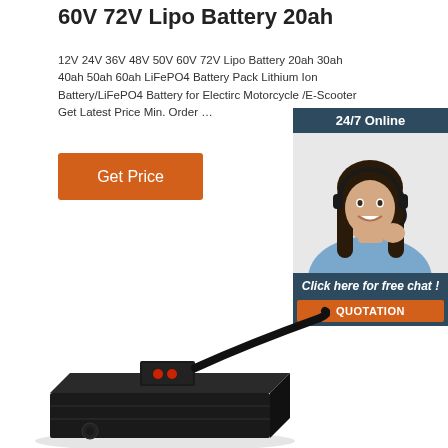60V 72V Lipo Battery 20ah
12V 24V 36V 48V 50V 60V 72V Lipo Battery 20ah 30ah 40ah 50ah 60ah LiFePO4 Battery Pack Lithium Ion Battery/LiFePO4 Battery for Electirc Motorcycle /E-Scooter Get Latest Price Min. Order …
[Figure (other): Orange 'Get Price' button]
[Figure (photo): Chat widget showing a smiling female customer service agent wearing a headset, with '24/7 Online' header, 'Click here for free chat!' text, and orange QUOTATION button]
[Figure (photo): Black lithium battery pack with connector cable, viewed from an angle]